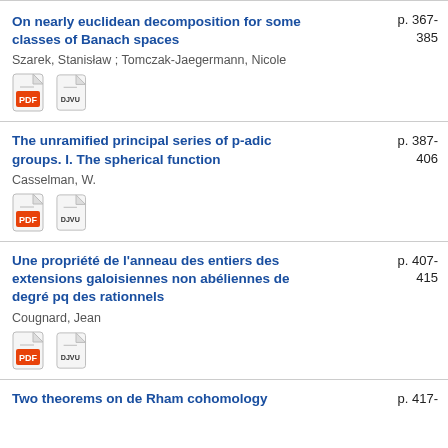On nearly euclidean decomposition for some classes of Banach spaces
Szarek, Stanisław  ; Tomczak-Jaegermann, Nicole
p. 367-385
[Figure (other): PDF and DJVU download icons]
The unramified principal series of p-adic groups. I. The spherical function
Casselman, W.
p. 387-406
[Figure (other): PDF and DJVU download icons]
Une propriété de l'anneau des entiers des extensions galoisiennes non abéliennes de degré pq des rationnels
Cougnard, Jean
p. 407-415
[Figure (other): PDF and DJVU download icons]
Two theorems on de Rham cohomology
p. 417-